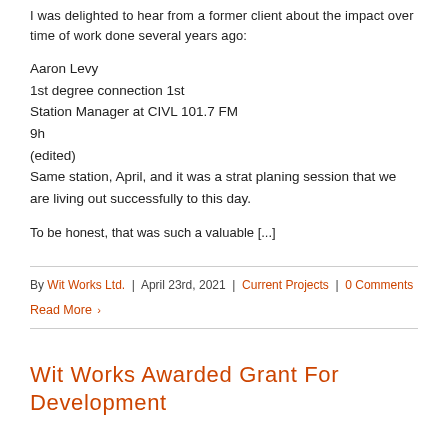I was delighted to hear from a former client about the impact over time of work done several years ago:
Aaron Levy
1st degree connection 1st
Station Manager at CIVL 101.7 FM
9h
(edited)
Same station, April, and it was a strat planing session that we are living out successfully to this day.
To be honest, that was such a valuable [...]
By Wit Works Ltd. | April 23rd, 2021 | Current Projects | 0 Comments
Read More ›
Wit Works Awarded Grant For Development